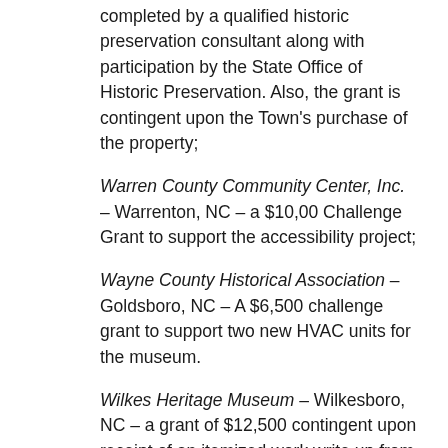completed by a qualified historic preservation consultant along with participation by the State Office of Historic Preservation. Also, the grant is contingent upon the Town's purchase of the property;
Warren County Community Center, Inc. – Warrenton, NC – a $10,00 Challenge Grant to support the accessibility project;
Wayne County Historical Association – Goldsboro, NC – A $6,500 challenge grant to support two new HVAC units for the museum.
Wilkes Heritage Museum – Wilkesboro, NC – a grant of $12,500 contingent upon receipt of an itemized work write up from the contractor that describes in detail the roof repair and shingle replacement and also indicates that it will be consistent with the recommendations received from the State Office of Historic Preservation.